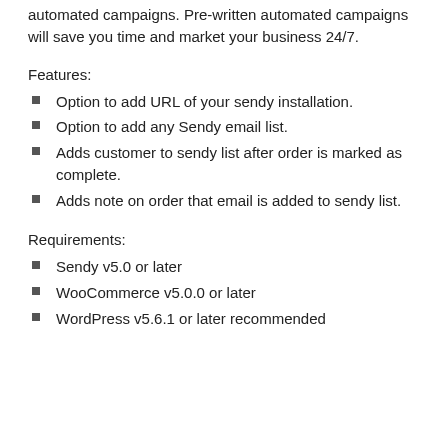automated campaigns. Pre-written automated campaigns will save you time and market your business 24/7.
Features:
Option to add URL of your sendy installation.
Option to add any Sendy email list.
Adds customer to sendy list after order is marked as complete.
Adds note on order that email is added to sendy list.
Requirements:
Sendy v5.0 or later
WooCommerce v5.0.0 or later
WordPress v5.6.1 or later recommended